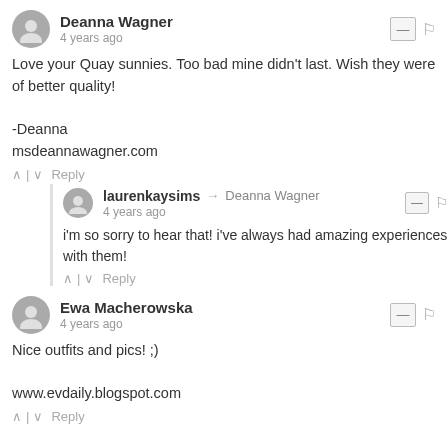Deanna Wagner
4 years ago
Love your Quay sunnies. Too bad mine didn't last. Wish they were of better quality!

-Deanna
msdeannawagner.com
laurenkaysims → Deanna Wagner
4 years ago
i'm so sorry to hear that! i've always had amazing experiences with them!
Ewa Macherowska
4 years ago
Nice outfits and pics! ;)

www.evdaily.blogspot.com